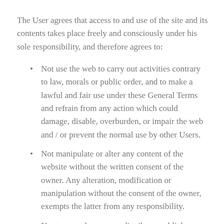The User agrees that access to and use of the site and its contents takes place freely and consciously under his sole responsibility, and therefore agrees to:
Not use the web to carry out activities contrary to law, morals or public order, and to make a lawful and fair use under these General Terms and refrain from any action which could damage, disable, overburden, or impair the web and / or prevent the normal use by other Users.
Not manipulate or alter any content of the website without the written consent of the owner. Any alteration, modification or manipulation without the consent of the owner, exempts the latter from any responsibility.
Not to reproduce, copy, distribute, publicly